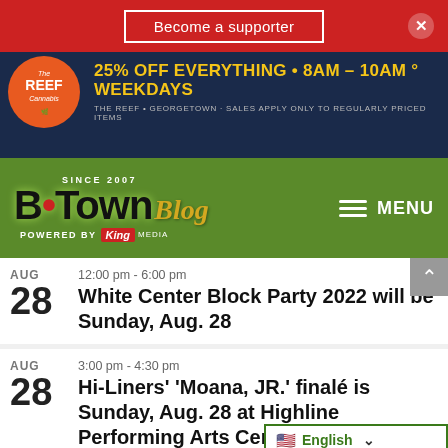Become a supporter
[Figure (infographic): The Reef Cannabis advertisement: 25% OFF EVERYTHING • 8AM - 10AM • WEEKDAYS. The Reef • Georgetown • Sales apply only to regularly priced items]
[Figure (logo): B·Town Blog logo — Since 2007, Powered by King Media — on green background with MENU navigation]
AUG 28 | 12:00 pm - 6:00 pm | White Center Block Party 2022 will be Sunday, Aug. 28
AUG 28 | 3:00 pm - 4:30 pm | Hi-Liners' 'Moana, JR.' finalé is Sunday, Aug. 28 at Highline Performing Arts Center
AUG | 10:00 am - 11:30 am